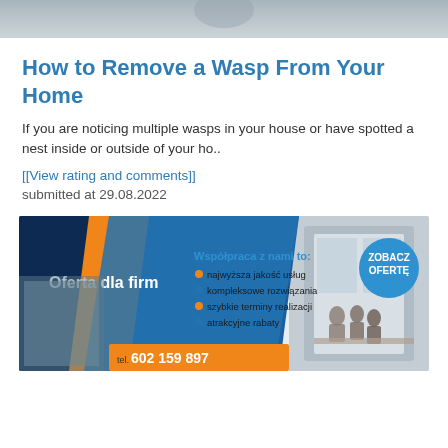[Figure (photo): Top portion of a photo, partially cropped, showing a light grey/blue toned image background]
How to Remove a Wasp From Your Home
If you are noticing multiple wasps in your house or have spotted a nest inside or outside of your ho..
[[View rating and comments]]
submitted at 29.08.2022
[Figure (infographic): Advertisement banner: 'Oferta dla firm' with blue and orange diagonal design. Lists: najwyzsza jakosc uslug, kompleksowe rozwiazania, szybkie terminy realizacji, atrakcyjne rabaty. Phone: tel. 602 159 897. Button: ZOBACZ OFERTE. Right side shows office pod with people inside.]